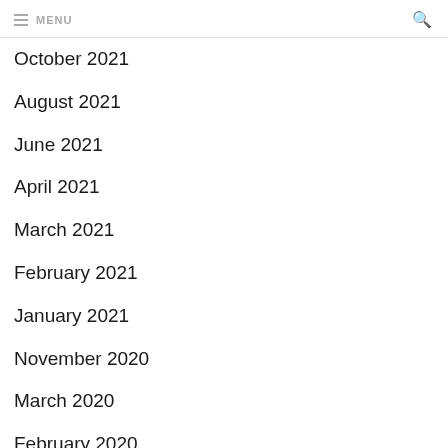MENU
October 2021
August 2021
June 2021
April 2021
March 2021
February 2021
January 2021
November 2020
March 2020
February 2020
June 2019
April 2019